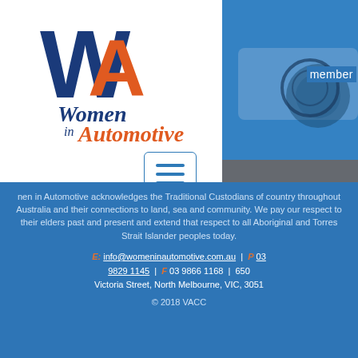[Figure (logo): Women in Automotive logo with large blue W and orange A letters, script text 'Women in Automotive' below]
member
[Figure (other): Hamburger menu icon button with three horizontal lines in blue border box]
[Figure (photo): Photo of person in car interior, warm tones, dashboard and steering wheel visible]
Women in Automotive acknowledges the Traditional Custodians of country throughout Australia and their connections to land, sea and community. We pay our respect to their elders past and present and extend that respect to all Aboriginal and Torres Strait Islander peoples today.
E: info@womeninautomotive.com.au | P 03 9829 1145 | F 03 9866 1168 | 650 Victoria Street, North Melbourne, VIC, 3051
© 2018 VACC